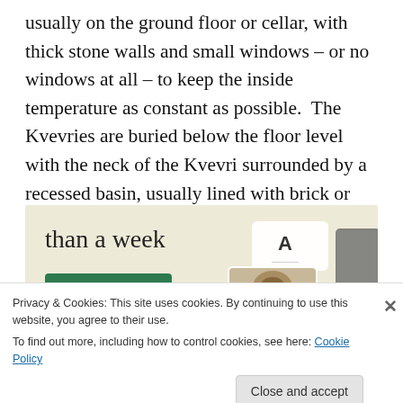usually on the ground floor or cellar, with thick stone walls and small windows – or no windows at all – to keep the inside temperature as constant as possible.  The Kvevries are buried below the floor level with the neck of the Kvevri surrounded by a recessed basin, usually lined with brick or stone.
[Figure (screenshot): Advertisement banner with beige background showing text 'than a week', a green 'Explore options' button, and app mockup screenshots on the right side.]
Privacy & Cookies: This site uses cookies. By continuing to use this website, you agree to their use.
To find out more, including how to control cookies, see here: Cookie Policy
Close and accept